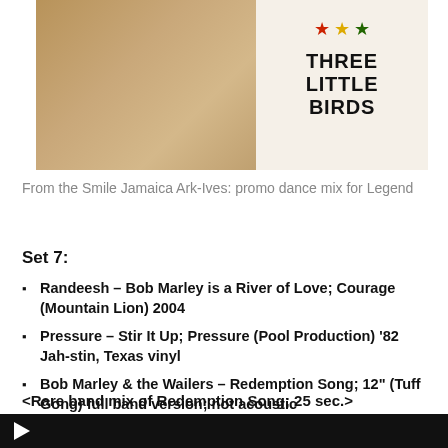[Figure (photo): Album cover image for 'Three Little Birds' showing a person with dreadlocks and a light background with red, yellow and green stars and the text THREE LITTLE BIRDS]
From the Smile Jamaica Ark-Ives: promo dance mix for Legend
Set 7:
Randeesh – Bob Marley is a River of Love; Courage (Mountain Lion) 2004
Pressure – Stir It Up; Pressure (Pool Production) '82 Jah-stin, Texas vinyl
Bob Marley & the Wailers – Redemption Song; 12" (Tuff Gong) full band version; not acoustic
<Rare band mix of Redemption Song; 25 sec.>
[Figure (screenshot): Black video player bar with white play button triangle]